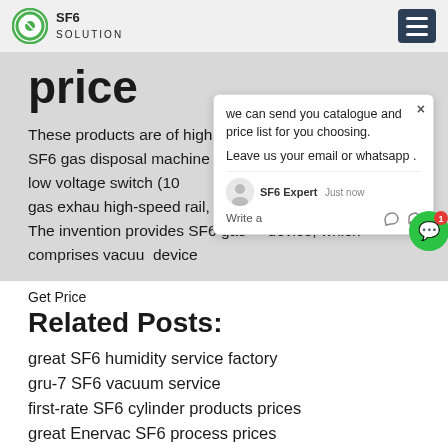SF6 SOLUTION
price
These products are of high quality and low price. The SF6 gas disposal machine is suitable for medium and low voltage switch (10 ... s filling cabinet, laboratory gas exhau... high-speed rail, suay station switch ... s on. The invention provides SF6 gas ... device, which comprises vacuu... device
Get Price
Related Posts:
great SF6 humidity service factory
gru-7 SF6 vacuum service
first-rate SF6 cylinder products prices
great Enervac SF6 process prices